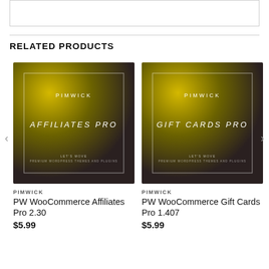[Figure (screenshot): Top partial box/content area, partially visible]
RELATED PRODUCTS
[Figure (illustration): Product image for PW WooCommerce Affiliates Pro 2.30 - dark gold gradient background with PIMWICK and AFFILIATES PRO text in white]
PIMWICK
PW WooCommerce Affiliates Pro 2.30
$5.99
[Figure (illustration): Product image for PW WooCommerce Gift Cards Pro 1.407 - dark gold gradient background with PIMWICK and GIFT CARDS PRO text in white]
PIMWICK
PW WooCommerce Gift Cards Pro 1.407
$5.99